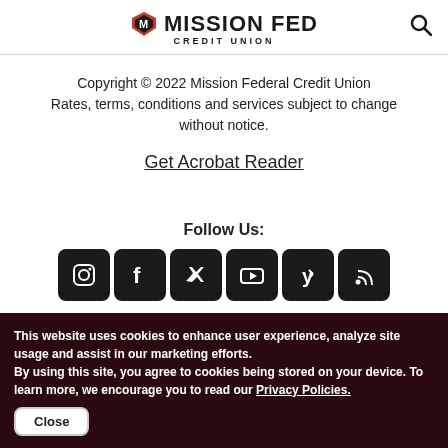MISSION FED CREDIT UNION
Copyright © 2022 Mission Federal Credit Union Rates, terms, conditions and services subject to change without notice.
Get Acrobat Reader
Follow Us:
[Figure (other): Social media icons: Instagram, Facebook, Twitter, YouTube, Yelp, RSS]
This website uses cookies to enhance user experience, analyze site usage and assist in our marketing efforts.
By using this site, you agree to cookies being stored on your device. To learn more, we encourage you to read our Privacy Policies.
Close